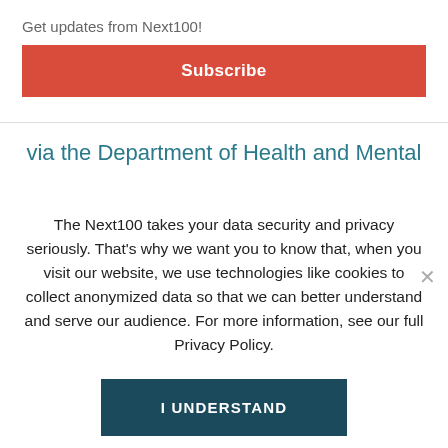Get updates from Next100!
Subscribe
via the Department of Health and Mental
The Next100 takes your data security and privacy seriously. That's why we want you to know that, when you visit our website, we use technologies like cookies to collect anonymized data so that we can better understand and serve our audience. For more information, see our full Privacy Policy.
I UNDERSTAND